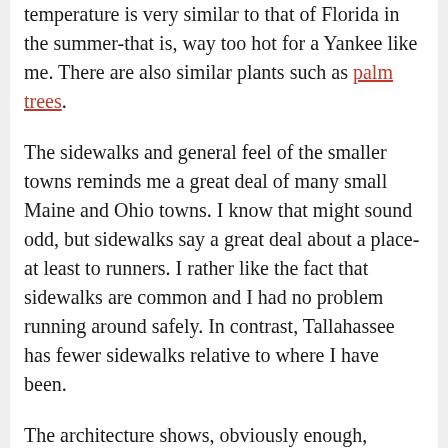temperature is very similar to that of Florida in the summer-that is, way too hot for a Yankee like me. There are also similar plants such as palm trees.
The sidewalks and general feel of the smaller towns reminds me a great deal of many small Maine and Ohio towns. I know that might sound odd, but sidewalks say a great deal about a place-at least to runners. I rather like the fact that sidewalks are common and I had no problem running around safely. In contrast, Tallahassee has fewer sidewalks relative to where I have been.
The architecture shows, obviously enough,